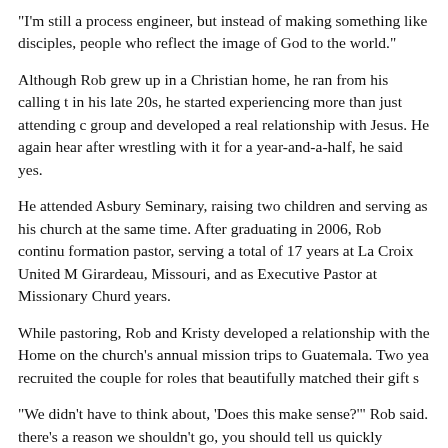“I’m still a process engineer, but instead of making something like disciples, people who reflect the image of God to the world.”
Although Rob grew up in a Christian home, he ran from his calling t in his late 20s, he started experiencing more than just attending c group and developed a real relationship with Jesus. He again hear after wrestling with it for a year-and-a-half, he said yes.
He attended Asbury Seminary, raising two children and serving as his church at the same time. After graduating in 2006, Rob continu formation pastor, serving a total of 17 years at La Croix United M Girardeau, Missouri, and as Executive Pastor at Missionary Churd years.
While pastoring, Rob and Kristy developed a relationship with the Home on the church’s annual mission trips to Guatemala. Two yea recruited the couple for roles that beautifully matched their gift s
“We didn’t have to think about, ‘Does this make sense?’” Rob said. there’s a reason we shouldn’t go, you should tell us quickly because so right.”